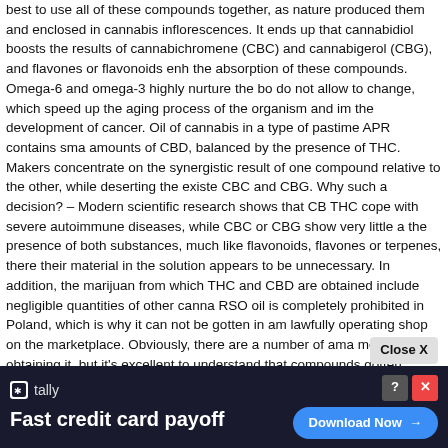best to use all of these compounds together, as nature produced them and enclosed in cannabis inflorescences. It ends up that cannabidiol boosts the results of cannabichromene (CBC) and cannabigerol (CBG), and flavones or flavonoids enhance the absorption of these compounds. Omega-6 and omega-3 highly nurture the body, do not allow to change, which speed up the aging process of the organism and impair the development of cancer. Oil of cannabis in a type of pastime APR contains small amounts of CBD, balanced by the presence of THC. Makers concentrate on the synergistic result of one compound relative to the other, while deserting the existence of CBC and CBG. Why such a decision? – Modern scientific research shows that CBD and THC cope with severe autoimmune diseases, while CBC or CBG show very little activity in the presence of both substances, much like flavonoids, flavones or terpenes, therefore their material in the solution appears to be unnecessary. In addition, the marijuana strains from which THC and CBD are obtained include negligible quantities of other cannabinoids. RSO oil is completely prohibited in Poland, which is why it can not be gotten in any lawfully operating shop on the marketplace. Obviously, there are a number of amateur methods for obtaining it, but it's excellent to understand that compounds gotten synthetically in house laboratories doubt, untested, and the result unknown. The solvent for the production of household RSO is typically gas, alcohol and even kerosene, which rather of treating, poison. Alcohols and their like hinder cannabinoids, therefore in reality they do not bring anything new to the medical world. Marijuana oil has currently marked a new period in which man ceased to fear what is unidentified, and started to uncover what our forefathers had actually currently noticed and use the significant capacity, in the beginning look, a little unusual relationships, associated generally with pathology. Medical cannabis, contrary to its name, does not imply fermented female inflorescences and leaves containing psychoactive substances coiled in so-called "Joints", but a helpful oil without psychoactive THC. A standard individual, after taking doses of medicinal marijuana increased...
[Figure (screenshot): Advertisement banner for Tally app showing 'Fast credit card payoff' with a Download Now button, close X and help icons overlay, and a 'Close X' button above the banner.]